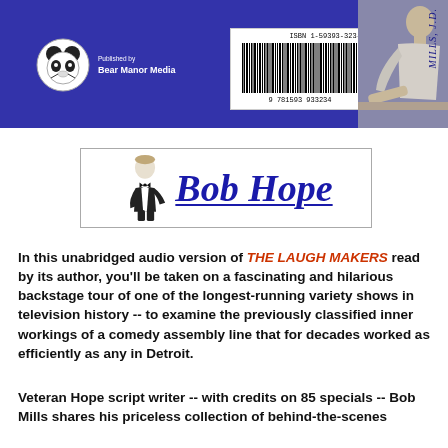[Figure (illustration): Blue banner with panda logo, 'Published by Bear Manor Media' text, barcode with ISBN 1-59393-323-1 and number 9781593933234, yin-yang symbol, and a black-and-white photo of a person on the right side. Spine text reads 'MILLS, J.D.']
[Figure (illustration): Bob Hope logo box with illustrated figure of Bob Hope in tuxedo and bold italic blue 'Bob Hope' text with underline]
In this unabridged audio version of THE LAUGH MAKERS read by its author, you'll be taken on a fascinating and hilarious backstage tour of one of the longest-running variety shows in television history -- to examine the previously classified inner workings of a comedy assembly line that for decades worked as efficiently as any in Detroit.
Veteran Hope script writer -- with credits on 85 specials -- Bob Mills shares his priceless collection of behind-the-scenes stories, anecdotes and photographs, of which he and Bob...